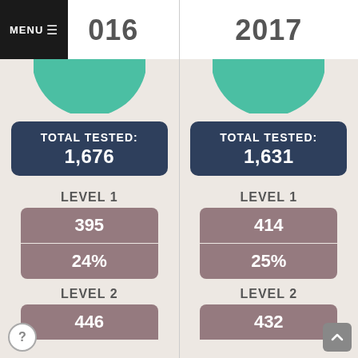2016
2017
TOTAL TESTED: 1,676
TOTAL TESTED: 1,631
LEVEL 1
395
24%
LEVEL 1
414
25%
LEVEL 2
446
LEVEL 2
432